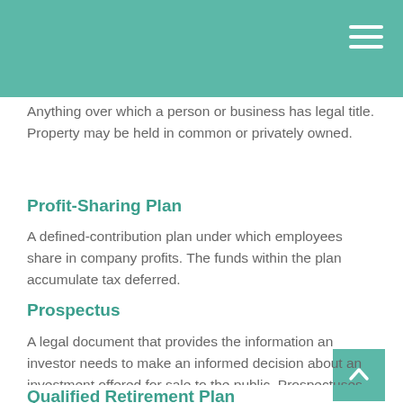Anything over which a person or business has legal title. Property may be held in common or privately owned.
Profit-Sharing Plan
A defined-contribution plan under which employees share in company profits. The funds within the plan accumulate tax deferred.
Prospectus
A legal document that provides the information an investor needs to make an informed decision about an investment offered for sale to the public. Prospectuses are required by and filed with the Securities and Exchange Commission.
Qualified Retirement Plan